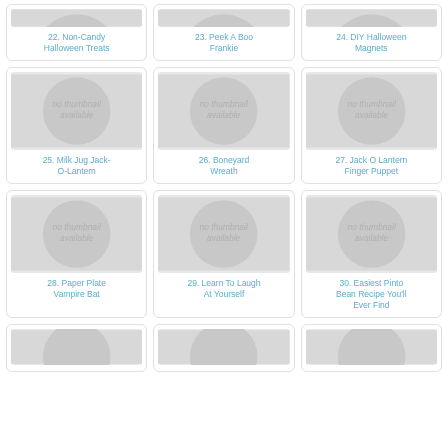[Figure (other): No thumbnail available placeholder image for item 22]
22. Non-Candy Halloween Treats
[Figure (other): No thumbnail available placeholder image for item 23]
23. Peek A Boo Frankie
[Figure (other): No thumbnail available placeholder image for item 24]
24. DIY Halloween Magnets
[Figure (other): No thumbnail available placeholder image for item 25]
25. Milk Jug Jack-O-Lantern
[Figure (other): No thumbnail available placeholder image for item 26]
26. Boneyard Wreath
[Figure (other): No thumbnail available placeholder image for item 27]
27. Jack O Lantern Finger Puppet
[Figure (other): No thumbnail available placeholder image for item 28]
28. Paper Plate Vampire Bat
[Figure (other): No thumbnail available placeholder image for item 29]
29. Learn To Laugh At Yourself
[Figure (other): No thumbnail available placeholder image for item 30]
30. Easiest Pinto Bean Recipe You'll Ever Find
[Figure (other): No thumbnail available placeholder image for item 31 (partial)]
[Figure (other): No thumbnail available placeholder image for item 32 (partial)]
[Figure (other): No thumbnail available placeholder image for item 33 (partial)]